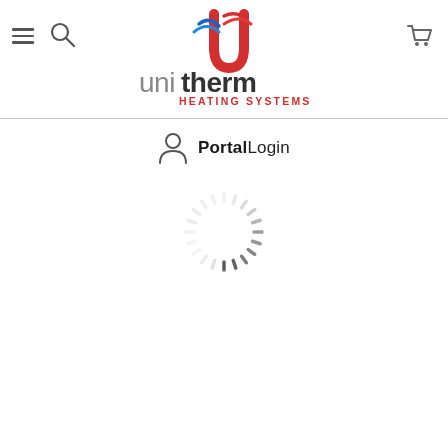[Figure (logo): Unitherm Heating Systems logo with red stylized U and wave mark, grey lowercase 'uni' and dark 'therm' text, red 'HEATING SYSTEMS' below]
PortalLogin
[Figure (other): Loading spinner animation — circular dashed ring of short grey tick marks]